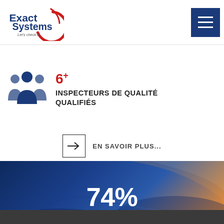[Figure (logo): Exact Systems logo with red arc and blue text, tagline 'Let's check it!']
[Figure (infographic): Blue group of people icon representing qualified inspectors]
INSPECTEURS DE QUALITÉ QUALIFIÉS
[Figure (infographic): Arrow in a box button linking to 'EN SAVOIR PLUS...']
EN SAVOIR PLUS...
[Figure (infographic): Automotive car photo background with overlay showing 74%, Industries avec lesquelles nous travaillons, AUTOMOTIVE]